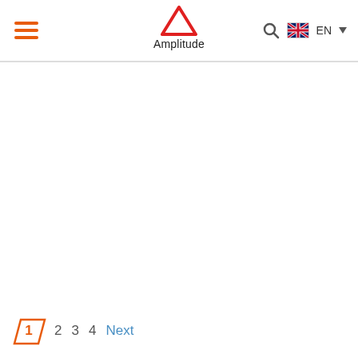Amplitude — navigation header with hamburger menu, logo, search, language selector EN
1 2 3 4 Next